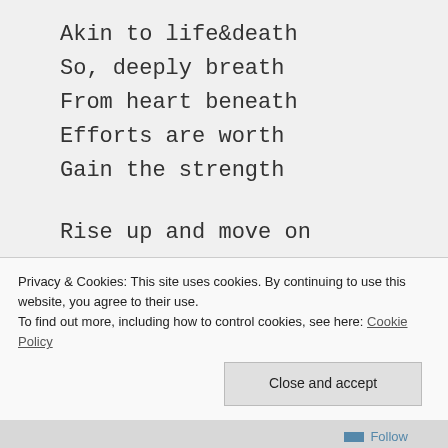Akin to life&death
So, deeply breath
From heart beneath
Efforts are worth
Gain the strength
Rise up and move on
Learn to walk alone
The path you choosen
Become your own boon
Privacy & Cookies: This site uses cookies. By continuing to use this website, you agree to their use.
To find out more, including how to control cookies, see here: Cookie Policy
Close and accept